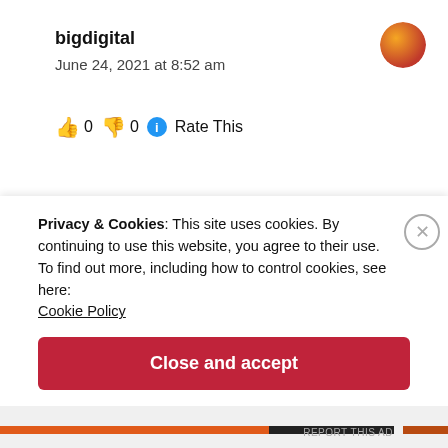bigdigital
June 24, 2021 at 8:52 am
👍 0 👎 0 ℹ Rate This
yep, thanks )
★ Like
Privacy & Cookies: This site uses cookies. By continuing to use this website, you agree to their use.
To find out more, including how to control cookies, see here: Cookie Policy
Close and accept